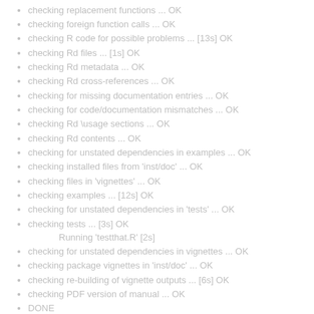checking replacement functions ... OK
checking foreign function calls ... OK
checking R code for possible problems ... [13s] OK
checking Rd files ... [1s] OK
checking Rd metadata ... OK
checking Rd cross-references ... OK
checking for missing documentation entries ... OK
checking for code/documentation mismatches ... OK
checking Rd \usage sections ... OK
checking Rd contents ... OK
checking for unstated dependencies in examples ... OK
checking installed files from 'inst/doc' ... OK
checking files in 'vignettes' ... OK
checking examples ... [12s] OK
checking for unstated dependencies in 'tests' ... OK
checking tests ... [3s] OK
    Running 'testthat.R' [2s]
checking for unstated dependencies in vignettes ... OK
checking package vignettes in 'inst/doc' ... OK
checking re-building of vignette outputs ... [6s] OK
checking PDF version of manual ... OK
DONE
Status: OK